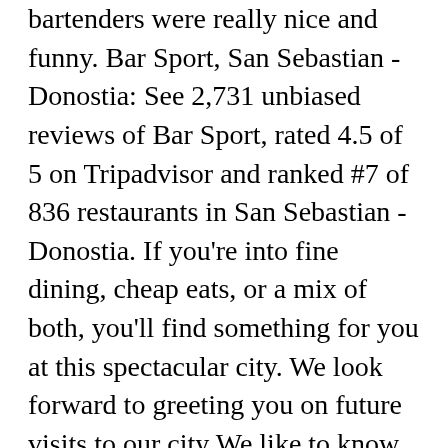bartenders were really nice and funny. Bar Sport, San Sebastian - Donostia: See 2,731 unbiased reviews of Bar Sport, rated 4.5 of 5 on Tripadvisor and ranked #7 of 836 restaurants in San Sebastian - Donostia. If you're into fine dining, cheap eats, or a mix of both, you'll find something for you at this spectacular city. We look forward to greeting you on future visits to our city We like to know what you enjoyed and your opinion about our pintxos. Bar Sport
        5   Greetings from the Bar Sport team, It is an outstanding place where tapas/pintxos are the best I had in the past. Do you have a suggestion for parking nearby? Very soft and tender. Tripadvisor gives a Travellers' Choice award to accommodations, attractions and